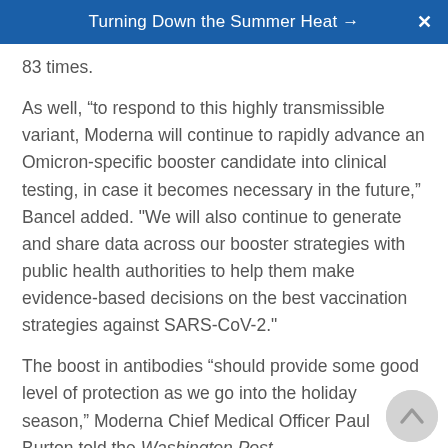Turning Down the Summer Heat →
83 times.
As well, “to respond to this highly transmissible variant, Moderna will continue to rapidly advance an Omicron-specific booster candidate into clinical testing, in case it becomes necessary in the future,” Bancel added. "We will also continue to generate and share data across our booster strategies with public health authorities to help them make evidence-based decisions on the best vaccination strategies against SARS-CoV-2."
The boost in antibodies “should provide some good level of protection as we go into the holiday season,” Moderna Chief Medical Officer Paul Burton told the Washington Post.
Moderna doesn’t yet have clinical data on protection